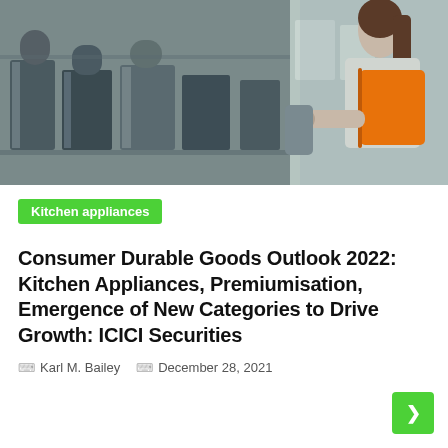[Figure (photo): Woman in an orange vest/bag browsing kitchen appliances (kettles, toasters, blenders) in a retail store]
Kitchen appliances
Consumer Durable Goods Outlook 2022: Kitchen Appliances, Premiumisation, Emergence of New Categories to Drive Growth: ICICI Securities
Karl M. Bailey   December 28, 2021